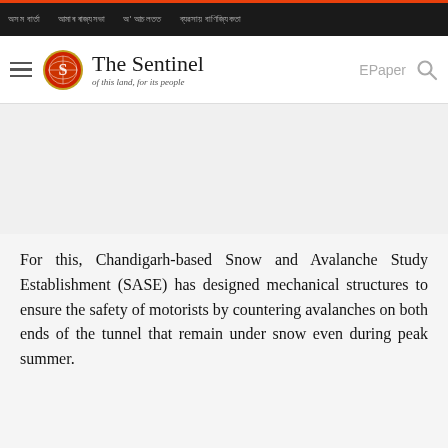অসম বাৰ্তা   আমাৰ ৰাজ্যসভা   অ' আচলতত   ব্যৱসায় বাণিজ্যিকতা
[Figure (logo): The Sentinel newspaper logo with globe icon, tagline 'of this land, for its people', EPaper link and search icon]
For this, Chandigarh-based Snow and Avalanche Study Establishment (SASE) has designed mechanical structures to ensure the safety of motorists by countering avalanches on both ends of the tunnel that remain under snow even during peak summer.